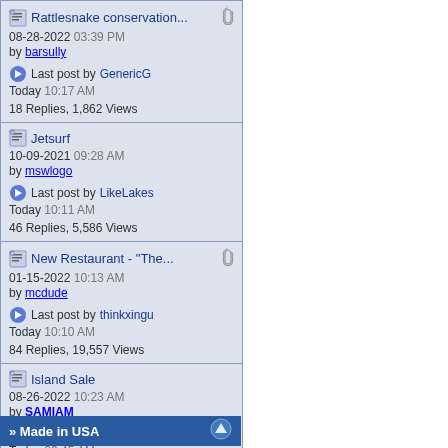Rattlesnake conservation... 08-28-2022 03:39 PM by barsully | Last post by GenericG Today 10:17 AM | 18 Replies, 1,862 Views
Jetsurf 10-09-2021 09:28 AM by mswlogo | Last post by LikeLakes Today 10:11 AM | 46 Replies, 5,586 Views
New Restaurant - "The... 01-15-2022 10:13 AM by mcdude | Last post by thinkxingu Today 10:10 AM | 84 Replies, 19,557 Views
Island Sale 08-26-2022 10:23 AM by SAMIAM | Last post by codeman671 Today 09:45 AM | 29 Replies, 3,863 Views
» Made in USA